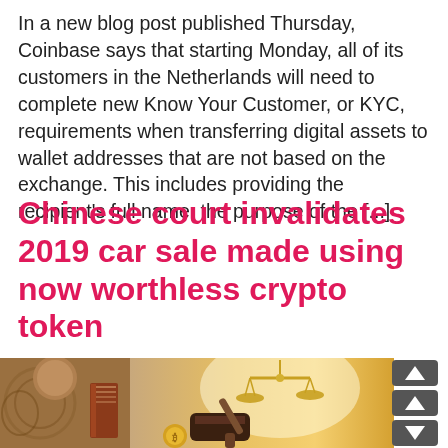In a new blog post published Thursday, Coinbase says that starting Monday, all of its customers in the Netherlands will need to complete new Know Your Customer, or KYC, requirements when transferring digital assets to wallet addresses that are not based on the exchange. This includes providing the recipient's full name, the purpose of the [...]
Chinese court invalidates 2019 car sale made using now worthless crypto token
[Figure (illustration): Illustration showing a judge's gavel, scales of justice, a book, and legal/court imagery with a golden/warm background tone representing a Chinese court ruling about cryptocurrency.]